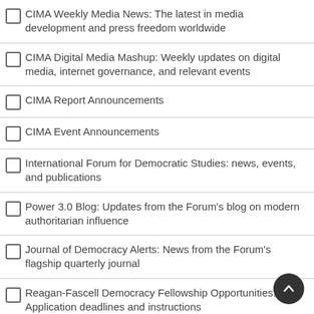CIMA Weekly Media News: The latest in media development and press freedom worldwide
CIMA Digital Media Mashup: Weekly updates on digital media, internet governance, and relevant events
CIMA Report Announcements
CIMA Event Announcements
International Forum for Democratic Studies: news, events, and publications
Power 3.0 Blog: Updates from the Forum's blog on modern authoritarian influence
Journal of Democracy Alerts: News from the Forum's flagship quarterly journal
Reagan-Fascell Democracy Fellowship Opportunities: Application deadlines and instructions
Democracy Research News: Newsletter of our global Network of Democracy Research Institutes